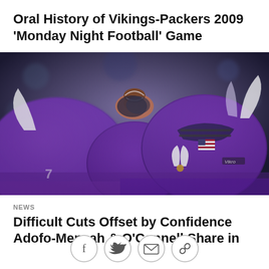Oral History of Vikings-Packers 2009 'Monday Night Football' Game
[Figure (photo): Close-up photo of Minnesota Vikings football players in purple helmets huddled together, with a hand gripping a football visible at the top center.]
NEWS
Difficult Cuts Offset by Confidence Adofo-Mensah & O'Connell Share in